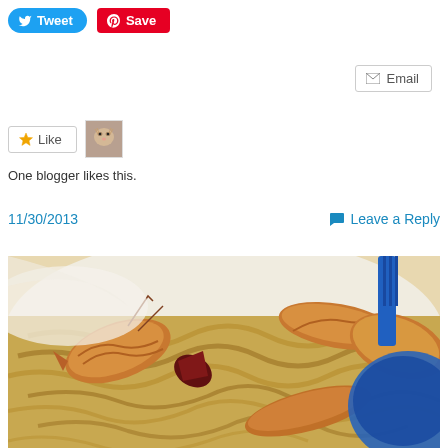[Figure (screenshot): Tweet and Save social sharing buttons]
[Figure (screenshot): Email button]
[Figure (screenshot): Like button with cat avatar thumbnail]
One blogger likes this.
11/30/2013
Leave a Reply
[Figure (photo): Close-up photo of shrimp noodles dish on a white plate with a blue bowl and blue fork in the background]